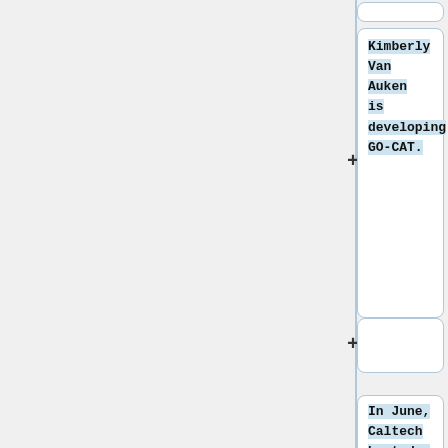Kimberly Van Auken is developing GO-CAT.
In June, Caltech hosted a small, working group meeting consisting of Suzi Lewis, Chris Mungall, and Heiko